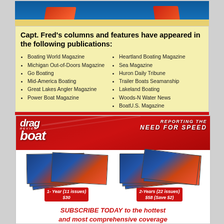[Figure (photo): Top portion of a boating advertisement with a photo strip showing boats on water with red and blue colors]
Capt. Fred's columns and features have appeared in the following publications:
Boating World Magazine
Michigan Out-of-Doors Magazine
Go Boating
Mid-America Boating
Great Lakes Angler Magazine
Power Boat Magazine
Heartland Boating Magazine
Sea Magazine
Huron Daily Tribune
Trailer Boats Seamanship
Lakeland Boating
Woods-N Water News
BoatU.S. Magazine
www.captainfredsboattips.com
[Figure (illustration): Drag Boat Review magazine subscription advertisement featuring stacked magazine covers and subscription offers: 1-Year (11 issues) $30 and 2-Years (22 issues) $58 (Save $2)]
SUBSCRIBE TODAY to the hottest and most comprehensive coverage of the sport of Professional Drag Boat Racing.